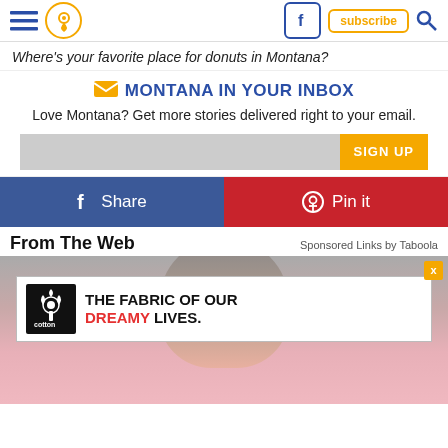≡ [location icon] [facebook icon] subscribe [search icon]
Where's your favorite place for donuts in Montana?
✉ MONTANA IN YOUR INBOX
Love Montana? Get more stories delivered right to your email.
SIGN UP
f Share   ® Pin it
From The Web
Sponsored Links by Taboola
[Figure (screenshot): Advertisement banner: Cotton logo with text 'THE FABRIC OF OUR DREAMY LIVES.' on white background, overlaid on a photo of a woman with a surprised expression on a pink background.]